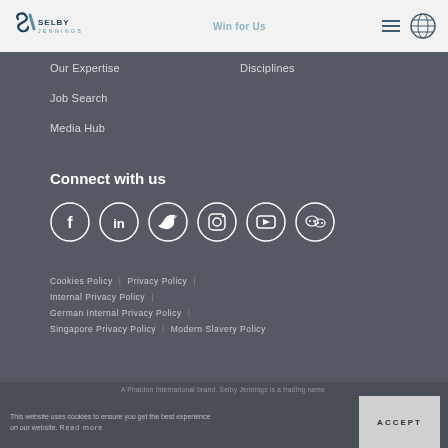Selby Jennings | Work For Us
Our Expertise
Disciplines
Job Search
Media Hub
Connect with us
[Figure (illustration): Six social media icon circles: Facebook, LinkedIn, Twitter, Instagram, YouTube, WeChat]
Cookies Policy | Privacy Policy | Internal Privacy Policy | German Internal Privacy Policy | Singapore Privacy Policy | Modern Slavery Policy
A Phaidon International brand. Selby Jennings is a trading name. This website uses cookies to ensure you get the best experience on our website. Read more  ACCEPT